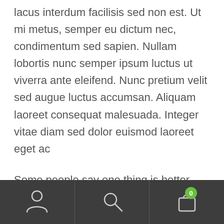lacus interdum facilisis sed non est. Ut mi metus, semper eu dictum nec, condimentum sed sapien. Nullam lobortis nunc semper ipsum luctus ut viverra ante eleifend. Nunc pretium velit sed augue luctus accumsan. Aliquam laoreet consequat malesuada. Integer vitae diam sed dolor euismod laoreet eget ac
Some people say one thing is better, but research shows A, B, and C are better. Then research comes out showing that X, Y, and Z are just as effective. Basically there is no one set way to approach many sports nutrition topics. BUT
Navigation bar with user, search, and cart (0) icons